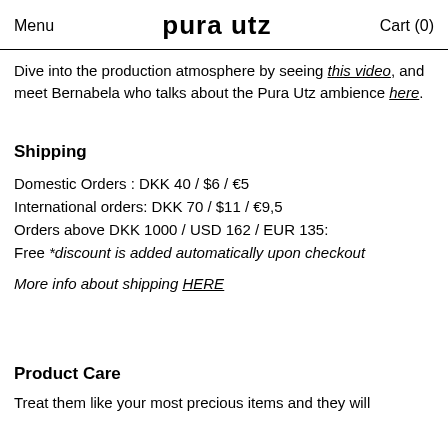Menu   pura utz   Cart (0)
Dive into the production atmosphere by seeing this video, and meet Bernabela who talks about the Pura Utz ambience here.
Shipping
Domestic Orders : DKK 40 / $6 / €5
International orders: DKK 70 / $11 / €9,5
Orders above DKK 1000 / USD 162 / EUR 135:
Free *discount is added automatically upon checkout
More info about shipping HERE
Product Care
Treat them like your most precious items and they will